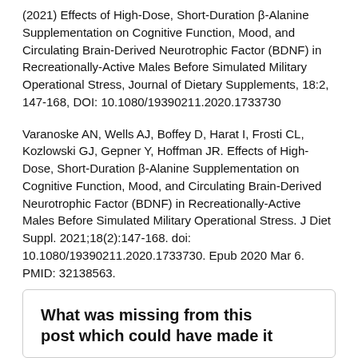(2021) Effects of High-Dose, Short-Duration β-Alanine Supplementation on Cognitive Function, Mood, and Circulating Brain-Derived Neurotrophic Factor (BDNF) in Recreationally-Active Males Before Simulated Military Operational Stress, Journal of Dietary Supplements, 18:2, 147-168, DOI: 10.1080/19390211.2020.1733730
Varanoske AN, Wells AJ, Boffey D, Harat I, Frosti CL, Kozlowski GJ, Gepner Y, Hoffman JR. Effects of High-Dose, Short-Duration β-Alanine Supplementation on Cognitive Function, Mood, and Circulating Brain-Derived Neurotrophic Factor (BDNF) in Recreationally-Active Males Before Simulated Military Operational Stress. J Diet Suppl. 2021;18(2):147-168. doi: 10.1080/19390211.2020.1733730. Epub 2020 Mar 6. PMID: 32138563.
What was missing from this post which could have made it